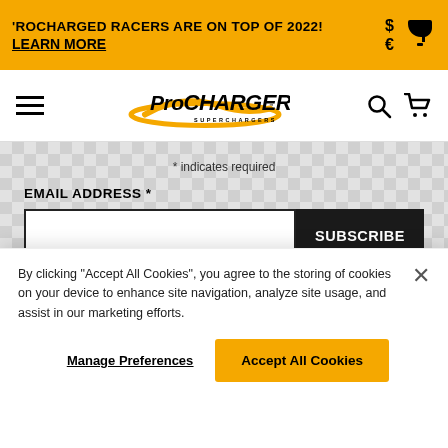'ROCHARGED RACERS ARE ON TOP OF 2022! LEARN MORE
[Figure (logo): ProCharger Superchargers logo with orange swoosh graphic]
* indicates required
EMAIL ADDRESS *
SUBSCRIBE
By clicking "Accept All Cookies", you agree to the storing of cookies on your device to enhance site navigation, analyze site usage, and assist in our marketing efforts.
Manage Preferences
Accept All Cookies